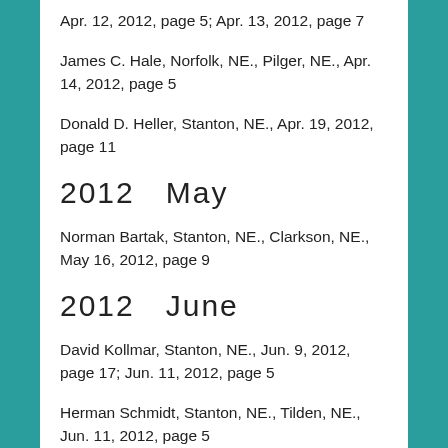Apr. 12, 2012, page 5; Apr. 13, 2012, page 7
James C. Hale, Norfolk, NE., Pilger, NE., Apr. 14, 2012, page 5
Donald D. Heller, Stanton, NE., Apr. 19, 2012, page 11
2012   May
Norman Bartak, Stanton, NE., Clarkson, NE., May 16, 2012, page 9
2012   June
David Kollmar, Stanton, NE., Jun. 9, 2012, page 17; Jun. 11, 2012, page 5
Herman Schmidt, Stanton, NE., Tilden, NE., Jun. 11, 2012, page 5
Olga Nisson, Wayne, NE., Stanton, NE., Jun. 11, 2012,